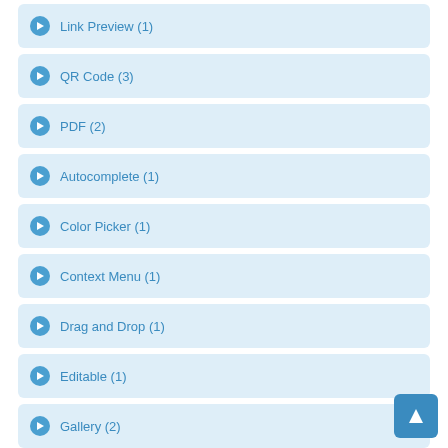Link Preview (1)
QR Code (3)
PDF (2)
Autocomplete (1)
Color Picker (1)
Context Menu (1)
Drag and Drop (1)
Editable (1)
Gallery (2)
Generator (1)
Image Manipulation (1)
Masked Input (1)
Prerendering (3)
Command Line / Terminal (4)